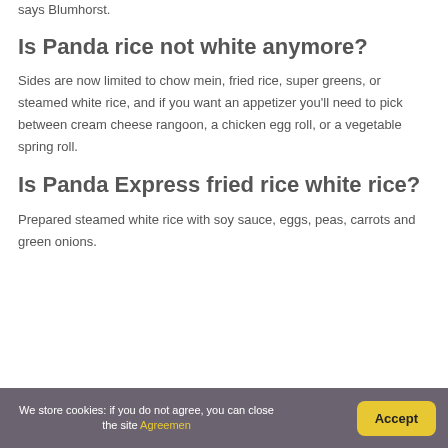says Blumhorst.
Is Panda rice not white anymore?
Sides are now limited to chow mein, fried rice, super greens, or steamed white rice, and if you want an appetizer you'll need to pick between cream cheese rangoon, a chicken egg roll, or a vegetable spring roll.
Is Panda Express fried rice white rice?
Prepared steamed white rice with soy sauce, eggs, peas, carrots and green onions.
We store cookies: if you do not agree, you can close the site Agreemen   Accept